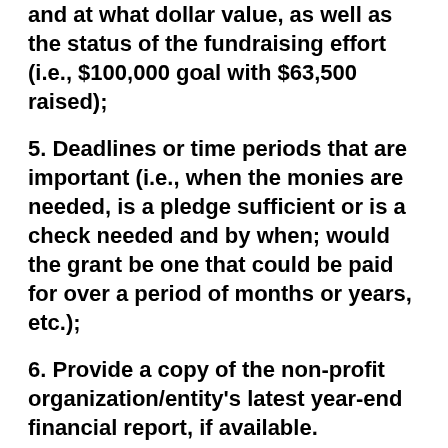and at what dollar value, as well as the status of the fundraising effort (i.e., $100,000 goal with $63,500 raised);
5. Deadlines or time periods that are important (i.e., when the monies are needed, is a pledge sufficient or is a check needed and by when; would the grant be one that could be paid for over a period of months or years, etc.);
6. Provide a copy of the non-profit organization/entity's latest year-end financial report, if available.